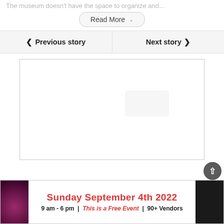The museum doesn't have the space to organize and...
Read More
< Previous story
Next story >
[Figure (other): Large empty white rectangle bordered area, likely a placeholder for an image or advertisement content.]
Sunday September 4th 2022
9 am - 6 pm | This is a Free Event | 90+ Vendors